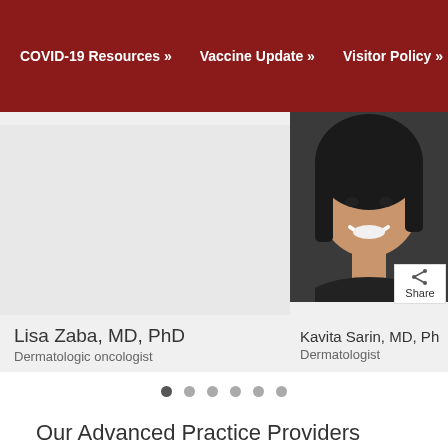COVID-19 Resources »   Vaccine Update »   Visitor Policy »
[Figure (photo): Photo of Kavita Sarin, MD, PhD — a smiling woman with dark hair, against a dark background]
Lisa Zaba, MD, PhD
Dermatologic oncologist
Kavita Sarin, MD, Ph
Dermatologist
Our Advanced Practice Providers